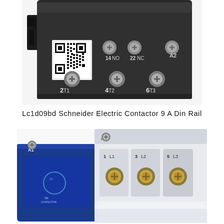[Figure (photo): Close-up of a Schneider Electric LC1D09BD contactor showing the bottom terminal side with labeled terminals: 2T1, 4T2, 6T3 (power terminals), 14 NO, 22 NC auxiliary contacts, A2, and a QR code on the dark body of the device.]
Lc1d09bd Schneider Electric Contactor 9 A Din Rail
[Figure (photo): Close-up of a Schneider Electric contactor (blue and white) showing the top terminal side with labeled terminals: A1, A2 (coil terminals), 1 L1, 3 L2, 5 L3 (input power terminals) with visible gold-tone terminal screws.]